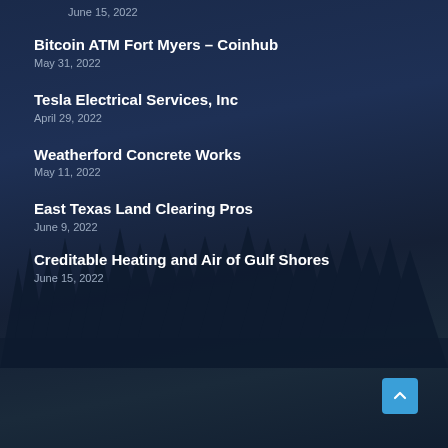June 15, 2022
Bitcoin ATM Fort Myers – Coinhub
May 31, 2022
Tesla Electrical Services, Inc
April 29, 2022
Weatherford Concrete Works
May 11, 2022
East Texas Land Clearing Pros
June 9, 2022
Creditable Heating and Air of Gulf Shores
June 15, 2022